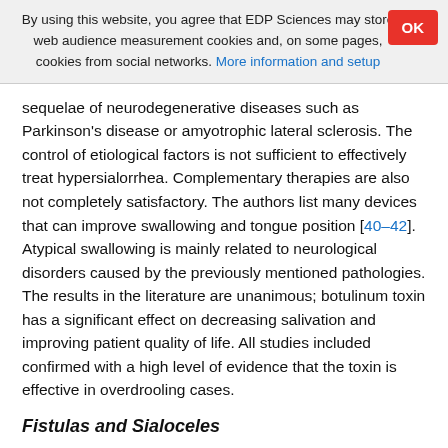By using this website, you agree that EDP Sciences may store web audience measurement cookies and, on some pages, cookies from social networks. More information and setup
sequelae of neurodegenerative diseases such as Parkinson's disease or amyotrophic lateral sclerosis. The control of etiological factors is not sufficient to effectively treat hypersialorrhea. Complementary therapies are also not completely satisfactory. The authors list many devices that can improve swallowing and tongue position [40–42]. Atypical swallowing is mainly related to neurological disorders caused by the previously mentioned pathologies. The results in the literature are unanimous; botulinum toxin has a significant effect on decreasing salivation and improving patient quality of life. All studies included confirmed with a high level of evidence that the toxin is effective in overdrooling cases.
Fistulas and Sialoceles